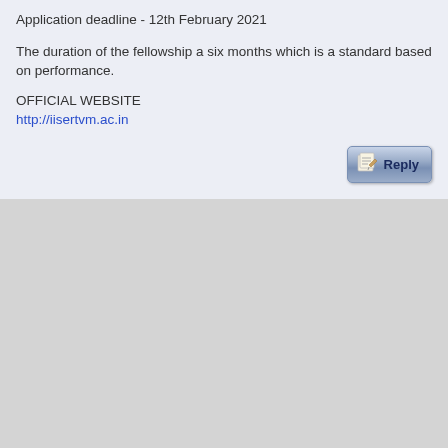Application deadline - 12th February 2021
The duration of the fellowship a six months which is a standard based on performance.
OFFICIAL WEBSITE
http://iisertvm.ac.in
[Figure (other): Reply button with pencil/notepad icon]